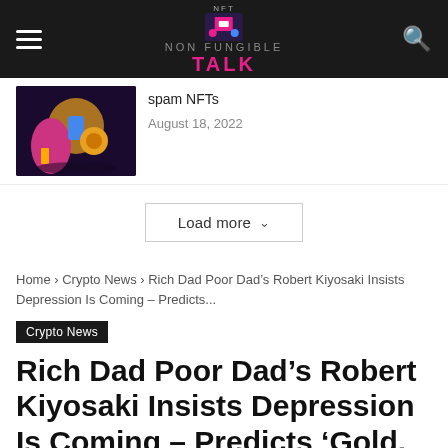Non Fungible Talk
[Figure (illustration): Colorful cartoon illustration with characters and crypto imagery on dark purple background]
spam NFTs
August 18, 2022
Load more
Home › Crypto News › Rich Dad Poor Dad's Robert Kiyosaki Insists Depression Is Coming – Predicts...
Crypto News
Rich Dad Poor Dad's Robert Kiyosaki Insists Depression Is Coming – Predicts 'Gold, Silver, Bitcoin, Real Estate